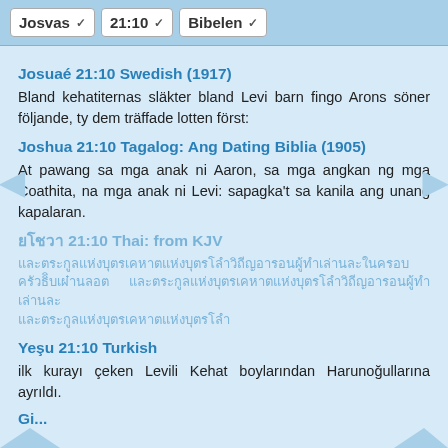Josvas  21:10  Bibelen
Josuaé 21:10 Swedish (1917)
Bland kehatiternas släkter bland Levi barn fingo Arons söner följande, ty dem träffade lotten först:
Joshua 21:10 Tagalog: Ang Dating Biblia (1905)
At pawang sa mga anak ni Aaron, sa mga angkan ng mga Coathita, na mga anak ni Levi: sapagka't sa kanila ang unang kapalaran.
ยโชวา 21:10 Thai: from KJV
Thai text content for Joshua 21:10
Yeşu 21:10 Turkish
ilk kurayı çeken Levili Kehat boylarından Harunoğullarına ayrıldı.